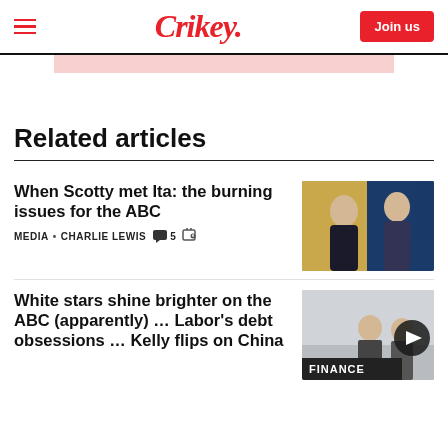Crikey.
[Figure (other): Pink banner advertisement placeholder]
Related articles
When Scotty met Ita: the burning issues for the ABC
MEDIA • CHARLIE LEWIS  5
[Figure (photo): Photo of two people talking — a woman and a man in suits against a blue background with an Australian flag]
White stars shine brighter on the ABC (apparently) … Labor's debt obsessions … Kelly flips on China
[Figure (photo): Photo of two men at a desk with a FINANCE lower-third graphic overlay, and a circular play/up-arrow button]